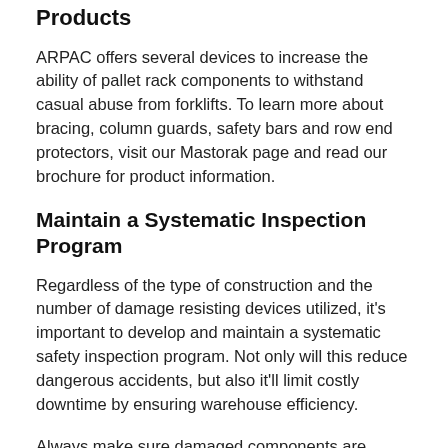Products
ARPAC offers several devices to increase the ability of pallet rack components to withstand casual abuse from forklifts. To learn more about bracing, column guards, safety bars and row end protectors, visit our Mastorak page and read our brochure for product information.
Maintain a Systematic Inspection Program
Regardless of the type of construction and the number of damage resisting devices utilized, it's important to develop and maintain a systematic safety inspection program. Not only will this reduce dangerous accidents, but also it'll limit costly downtime by ensuring warehouse efficiency.
Always make sure damaged components are immediately offloaded and tagged “out of service” until the damage is repaired or the components are